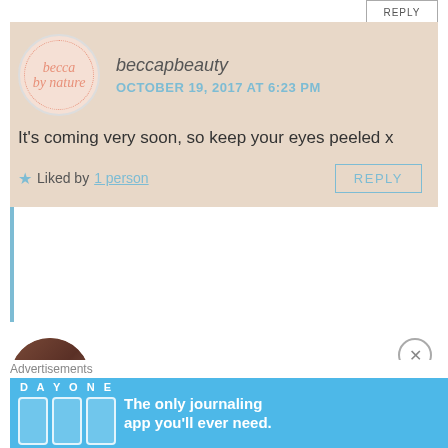REPLY
beccapbeauty
OCTOBER 19, 2017 AT 6:23 PM
It's coming very soon, so keep your eyes peeled x
Liked by 1 person
REPLY
misschissyblog
OCTOBER 19, 2017 AT 6:55 PM
I will ...always want to get it n always pass by it. Although every MUA eyeshadow I have bought so far as never failed
Advertisements
DAY ONE
The only journaling app you'll ever need.